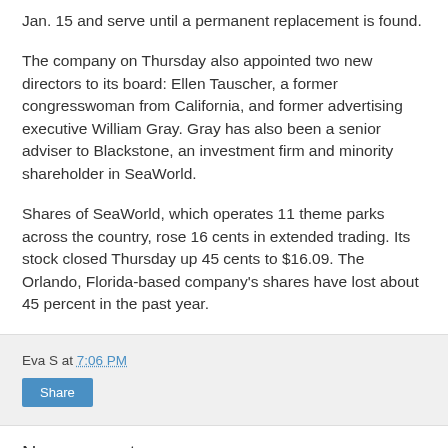Jan. 15 and serve until a permanent replacement is found.
The company on Thursday also appointed two new directors to its board: Ellen Tauscher, a former congresswoman from California, and former advertising executive William Gray. Gray has also been a senior adviser to Blackstone, an investment firm and minority shareholder in SeaWorld.
Shares of SeaWorld, which operates 11 theme parks across the country, rose 16 cents in extended trading. Its stock closed Thursday up 45 cents to $16.09. The Orlando, Florida-based company's shares have lost about 45 percent in the past year.
Eva S at 7:06 PM
Share
No comments:
Post a Comment